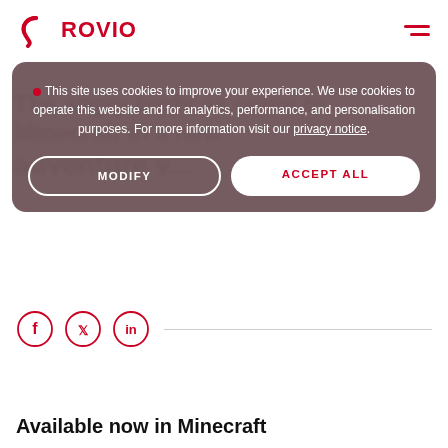[Figure (logo): Rovio logo — red boomerang/arrow shape followed by ROVIO in bold red text]
[Figure (other): Hamburger menu icon — two red horizontal lines, top longer than bottom]
This site uses cookies to improve your experience. We use cookies to operate this website and for analytics, performance, and personalisation purposes. For more information visit our privacy notice.
MODIFY
ACCEPT ALL
[Figure (other): Social media icons row: Facebook (f), Twitter (bird), LinkedIn (in) each in a red circle outline, followed by a thin horizontal line extending to the right]
Available now in Minecraft